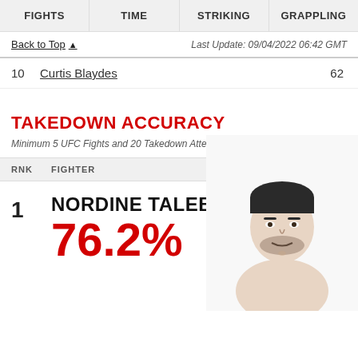FIGHTS | TIME | STRIKING | GRAPPLING
Back to Top ▲   Last Update: 09/04/2022 06:42 GMT
| RNK | FIGHTER | PERCENT |
| --- | --- | --- |
| 10 | Curtis Blaydes | 62 |
TAKEDOWN ACCURACY
Minimum 5 UFC Fights and 20 Takedown Attempts
| RNK | FIGHTER | PERCENT |
| --- | --- | --- |
| 1 | NORDINE TALEB | 76.2% |
[Figure (photo): Photo of Nordine Taleb, a UFC fighter, shown from shoulders up]